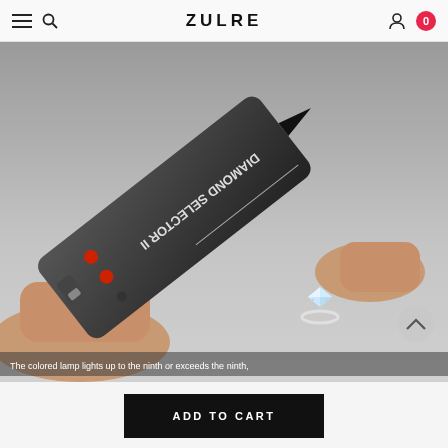ZULRE
[Figure (photo): Hands holding a Diamond Selector II device testing a diamond ring on a white surface. The device has red indicator lamps labeled LAMP ON READY ON and LAMP ON BATTERY OK. Text overlay at bottom reads: The colored lamp lights up to the ninth or exceeds the ninth.]
The colored lamp lights up to the ninth or exceeds the ninth,
ADD TO CART